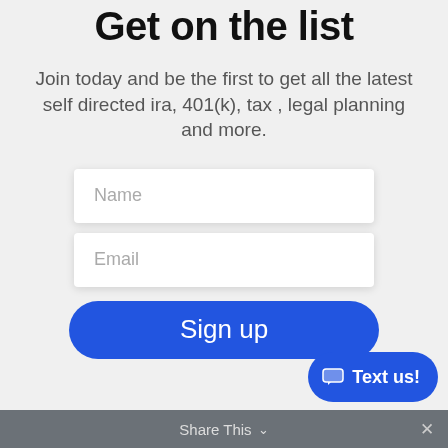Get on the list
Join today and be the first to get all the latest self directed ira, 401(k), tax , legal planning and more.
Name
Email
Sign up
Text us!
Share This ∨  ×